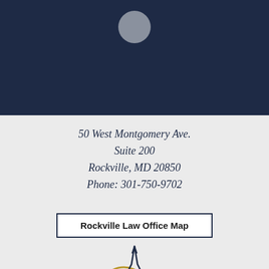[Figure (illustration): Dark navy blue background section with a grey circle centered near the top, representing a profile/avatar placeholder area for a law firm contact page.]
50 West Montgomery Ave.
Suite 200
Rockville, MD 20850
Phone: 301-750-9702
Rockville Law Office Map
[Figure (logo): Partial law firm logo at the bottom, showing a stylized figure/scales graphic in dark navy and gold.]